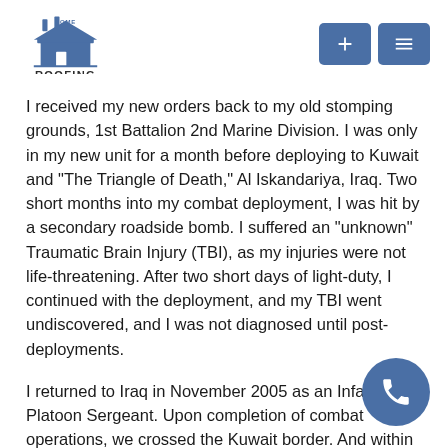Home Roofing Solutions [logo]
I received my new orders back to my old stomping grounds, 1st Battalion 2nd Marine Division. I was only in my new unit for a month before deploying to Kuwait and "The Triangle of Death," Al Iskandariya, Iraq. Two short months into my combat deployment, I was hit by a secondary roadside bomb. I suffered an "unknown" Traumatic Brain Injury (TBI), as my injuries were not life-threatening. After two short days of light-duty, I continued with the deployment, and my TBI went undiscovered, and I was not diagnosed until post-deployments.
I returned to Iraq in November 2005 as an Infantry Platoon Sergeant. Upon completion of combat operations, we crossed the Kuwait border. And within the next week, I received a Red Cross message. My Father's health was